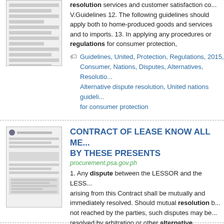resolution services and customer satisfaction co... V.Guidelines 12. The following guidelines should apply both to home-produced goods and services and to imports. 13. In applying any procedures or regulations for consumer protection,
Guidelines, United, Protection, Regulations, 2015, Consumer, Nations, Disputes, Alternatives, Resolution, Alternative dispute resolution, United nations guidelines for consumer protection
CONTRACT OF LEASE KNOW ALL ME... BY THESE PRESENTS
procurement.psa.gov.ph
1. Any dispute between the LESSOR and the LESS... arising from this Contract shall be mutually and immediately resolved. Should mutual resolution b... not reached by the parties, such disputes may be... resolved by arbitration or other alternative ...
Disputes, Alternatives, Resolution